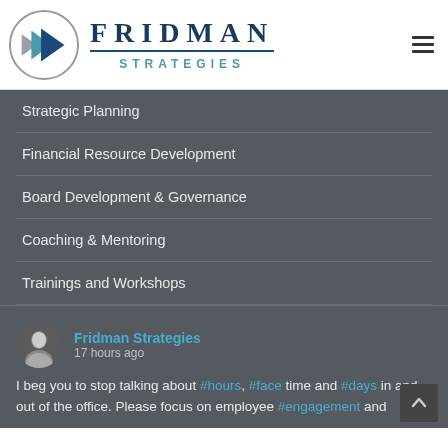[Figure (logo): Fridman Strategies logo with circle containing arrow chevrons in blue and gray, and the text FRIDMAN STRATEGIES]
Strategic Planning
Financial Resource Development
Board Development & Governance
Coaching & Mentoring
Trainings and Workshops
Fridman Strategies
17 hours ago
I beg you to stop talking about #hours, #face time and #days in and out of the office. Please focus on employee #engagement and